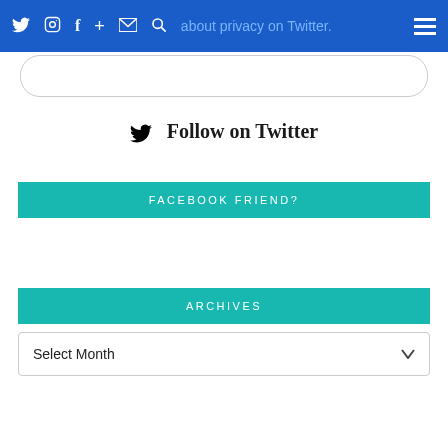Navigation bar with social icons (Twitter, Instagram, Facebook, plus, email, search) and hamburger menu on blue background. Text: 'Learn more about privacy on Twitter.'
[Figure (screenshot): Rounded rectangle border element below nav bar]
🐦 Follow on Twitter
FACEBOOK FRIEND?
ARCHIVES
Select Month